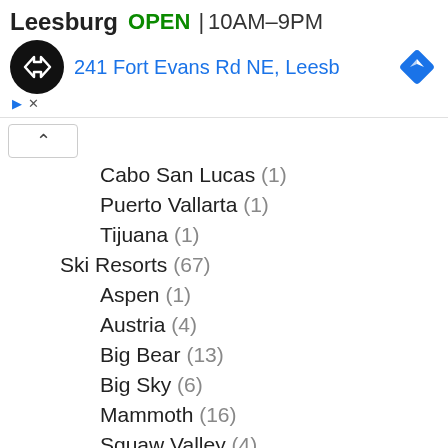Leesburg OPEN 10AM–9PM
241 Fort Evans Rd NE, Leesb
Cabo San Lucas (1)
Puerto Vallarta (1)
Tijuana (1)
Ski Resorts (67)
Aspen (1)
Austria (4)
Big Bear (13)
Big Sky (6)
Mammoth (16)
Squaw Valley (4)
Whistler (2)
Tokyo (1)
USA (1,682)